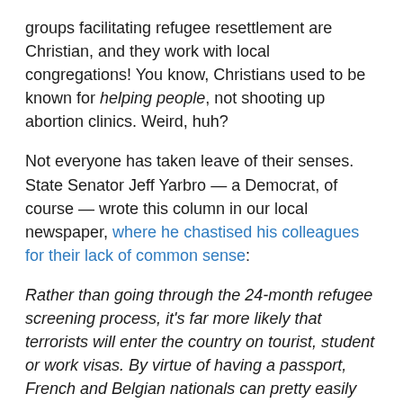groups facilitating refugee resettlement are Christian, and they work with local congregations! You know, Christians used to be known for helping people, not shooting up abortion clinics. Weird, huh?
Not everyone has taken leave of their senses. State Senator Jeff Yarbro — a Democrat, of course — wrote this column in our local newspaper, where he chastised his colleagues for their lack of common sense:
Rather than going through the 24-month refugee screening process, it's far more likely that terrorists will enter the country on tourist, student or work visas. By virtue of having a passport, French and Belgian nationals can pretty easily board a plane and come to the United States.